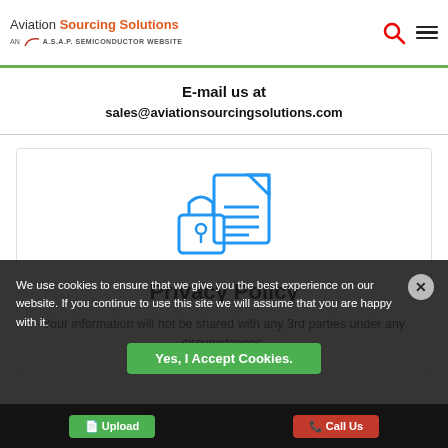Aviation Sourcing Solutions - AN A.S.A.P. SEMICONDUCTOR WEBSITE
E-mail us at
sales@aviationsourcingsolutions.com
[Figure (illustration): Blue icon of a padlock overlapping a document with lines, representing privacy/security]
Privacy Policy
Your information will not be shared with any 3rd parties under any circumstances.
We use cookies to ensure that we give you the best experience on our website. If you continue to use this site we will assume that you are happy with it.
Yes, I Accept Cookies.